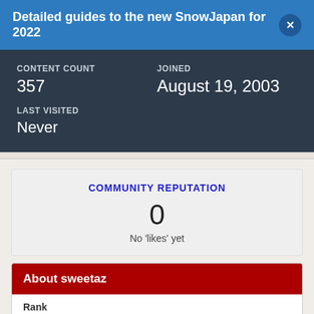Detailed guides to the new SnowJapan for 2022
CONTENT COUNT
357
JOINED
August 19, 2003
LAST VISITED
Never
COMMUNITY REPUTATION
0
No 'likes' yet
About sweetaz
Rank